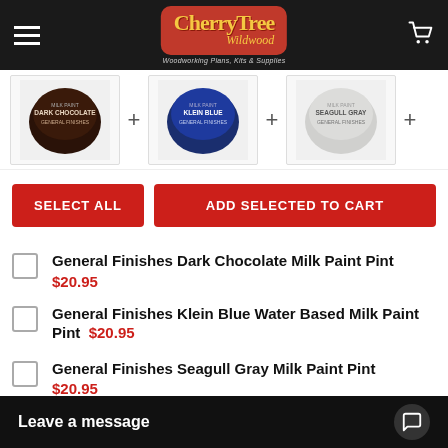[Figure (logo): CherryTree Wildwood logo — woodworking plans, kits & supplies]
[Figure (photo): Three product paint can images: Dark Chocolate (General Finishes), Klein Blue (General Finishes), Seagull Gray (General Finishes), each separated by a plus sign]
SELECT ALL | ADD SELECTED TO CART
General Finishes Dark Chocolate Milk Paint Pint $20.95
General Finishes Klein Blue Water Based Milk Paint Pint $20.95
General Finishes Seagull Gray Milk Paint Pint $20.95
General Finishes P... Milk Paint ... $32.95
Leave a message